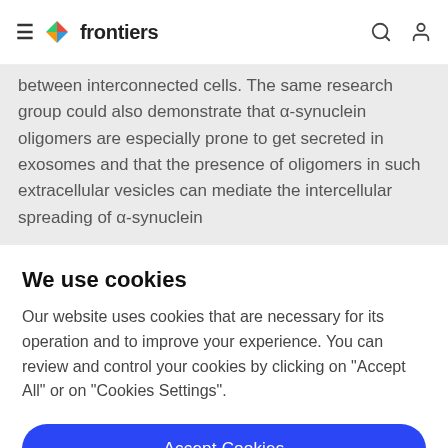frontiers
between interconnected cells. The same research group could also demonstrate that α-synuclein oligomers are especially prone to get secreted in exosomes and that the presence of oligomers in such extracellular vesicles can mediate the intercellular spreading of α-synuclein
We use cookies
Our website uses cookies that are necessary for its operation and to improve your experience. You can review and control your cookies by clicking on "Accept All" or on "Cookies Settings".
Accept Cookies
Cookies Settings